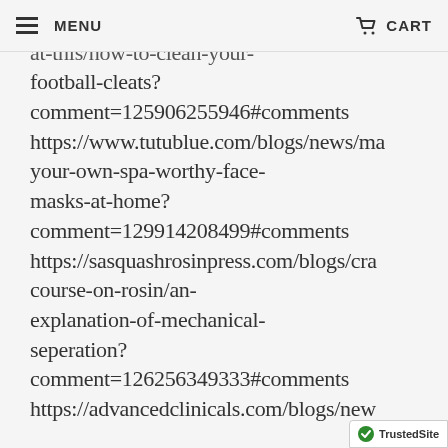MENU   CART
https://www.sportstakeoff.com/blogs/...at-this/how-to-clean-your-football-cleats?comment=125906255946#comments https://www.tutublue.com/blogs/news/ma...your-own-spa-worthy-face-masks-at-home?comment=129914208499#comments https://sasquashrosinpress.com/blogs/cra...course-on-rosin/an-explanation-of-mechanical-seperation?comment=126256349333#comments https://advancedclinicals.com/blogs/news...
[Figure (logo): TrustedSite badge with green checkmark]